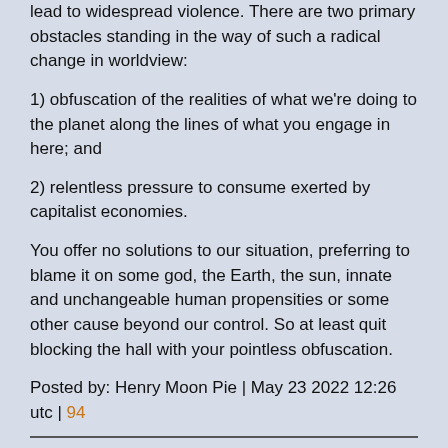lead to widespread violence. There are two primary obstacles standing in the way of such a radical change in worldview:
1) obfuscation of the realities of what we're doing to the planet along the lines of what you engage in here; and
2) relentless pressure to consume exerted by capitalist economies.
You offer no solutions to our situation, preferring to blame it on some god, the Earth, the sun, innate and unchangeable human propensities or some other cause beyond our control. So at least quit blocking the hall with your pointless obfuscation.
Posted by: Henry Moon Pie | May 23 2022 12:26 utc | 94
The other part is that biz-analyst types (c1ue has a lot of that background, as he/she demonstrates often) tend to do what I call "incremental-think" as contrasted with "imagination".
Posted by: Tom Pfotzer | May 22 2022 19:49 utc | 47
That's a very diplomatic way of saying that his thinking is trapped in a box, and he's inviting us to join him.
As the biz-analyst types who have been indispensable in